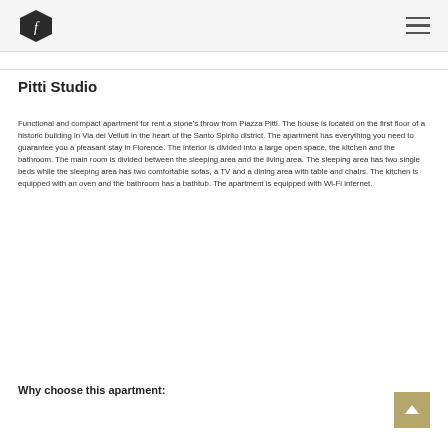Pitti Studio
Functional and compact apartment for rent a stone’s throw from Piazza Pitti. The house is located on the first floor of a historic building in Via dei Velluti in the heart of the Santo Spirito district. The apartment has everything you need to guarantee you a pleasant stay in Florence. The interior is divided into a large open space, the kitchen and the bathroom. The main room is divided between the sleeping area and the living area. The sleeping area has two single beds while the sleeping area has two comfortable sofas, a TV and a dining area with table and chairs. The kitchen is equipped with an oven and the bathroom has a bathtub. The apartment is equipped with Wi-Fi internet.
Why choose this apartment: